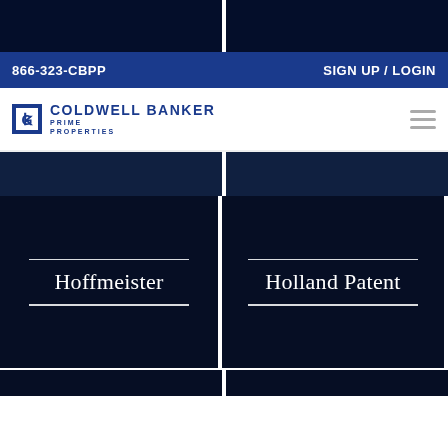[Figure (screenshot): Top dark navy banner split into two equal blocks separated by a white gap]
866-323-CBPP   SIGN UP / LOGIN
[Figure (logo): Coldwell Banker Prime Properties logo with CB icon and hamburger menu icon on right]
[Figure (screenshot): Middle navy banner row split into two equal blocks]
[Figure (screenshot): Dark navy tile card labeled Hoffmeister with white horizontal lines above and below]
[Figure (screenshot): Dark navy tile card labeled Holland Patent with white horizontal lines above and below]
[Figure (screenshot): Bottom dark navy strip split into two equal blocks]
[Figure (screenshot): Thin white bottom strip]